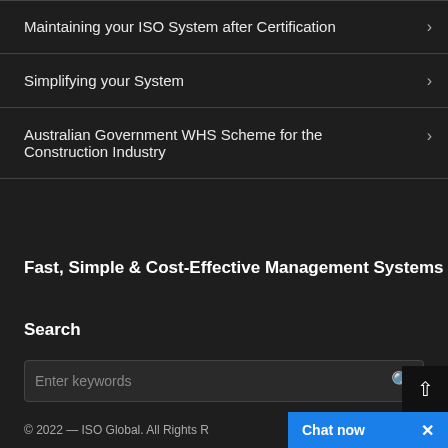Maintaining your ISO System after Certification
Simplifying your System
Australian Government WHS Scheme for the Construction Industry
Fast, Simple & Cost-Effective Management Systems
Search
Enter keywords
© 2022 — ISO Global. All Rights R…